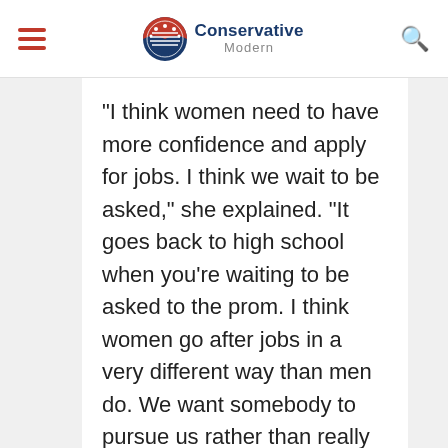Conservative Modern
“I think women need to have more confidence and apply for jobs. I think we wait to be asked,” she explained. “It goes back to high school when you’re waiting to be asked to the prom. I think women go after jobs in a very different way than men do. We want somebody to pursue us rather than really going for it.
“Girls are socialized to know when they come out, gender rules are already set. Men run the world. Men